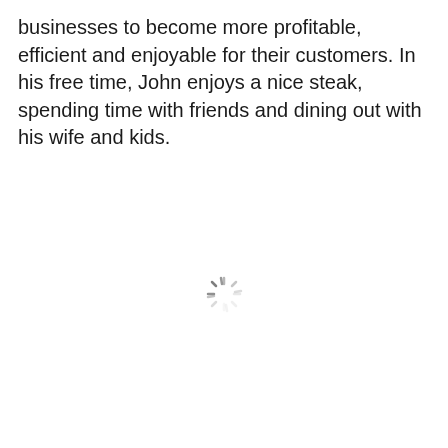businesses to become more profitable, efficient and enjoyable for their customers. In his free time, John enjoys a nice steak, spending time with friends and dining out with his wife and kids.
[Figure (other): A loading spinner icon (circular spinner with radiating lines in gray), centered on the lower half of the page.]